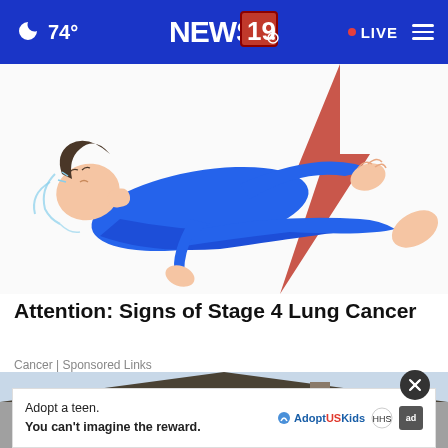74° NEWS 19 · LIVE
[Figure (illustration): Illustration of a person lying down in a blue outfit, appearing in pain, with a red lightning bolt striking their leg suggesting pain or medical distress.]
Attention: Signs of Stage 4 Lung Cancer
Cancer | Sponsored Links
[Figure (photo): Partial photo of a house exterior with a dark roof, grey siding.]
Adopt a teen. You can't imagine the reward. AdoptUSKids ad